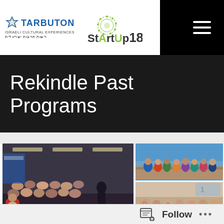Tarbuton Israeli Cultural Experiences | StartUp18
Rekindle Past Programs
[Figure (photo): Left: A large indoor gathering/lecture with many people seated in rows facing a speaker. Right top: A group of people posing outdoors on a hilltop with a blue sky and city view. Right bottom: A group of women gathered indoors smiling at the camera.]
Follow  •••